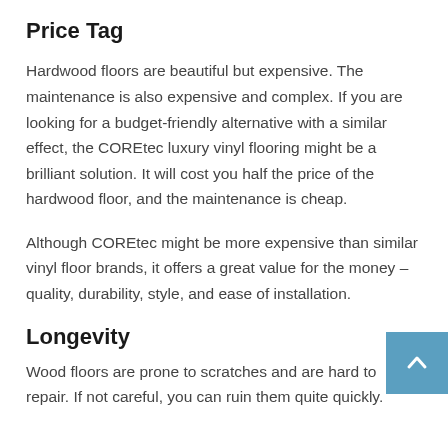Price Tag
Hardwood floors are beautiful but expensive. The maintenance is also expensive and complex. If you are looking for a budget-friendly alternative with a similar effect, the COREtec luxury vinyl flooring might be a brilliant solution. It will cost you half the price of the hardwood floor, and the maintenance is cheap.
Although COREtec might be more expensive than similar vinyl floor brands, it offers a great value for the money – quality, durability, style, and ease of installation.
Longevity
Wood floors are prone to scratches and are hard to repair. If not careful, you can ruin them quite quickly.